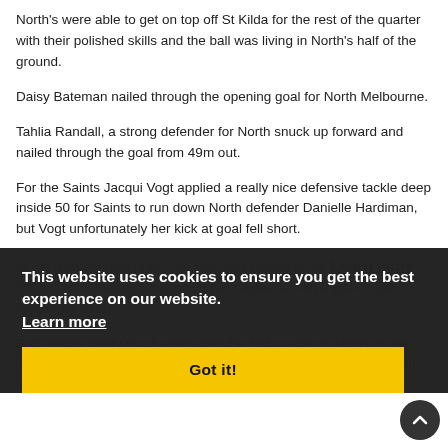North's were able to get on top off St Kilda for the rest of the quarter with their polished skills and the ball was living in North's half of the ground.
Daisy Bateman nailed through the opening goal for North Melbourne.
Tahlia Randall, a strong defender for North snuck up forward and nailed through the goal from 49m out.
For the Saints Jacqui Vogt applied a really nice defensive tackle deep inside 50 for Saints to run down North defender Danielle Hardiman, but Vogt unfortunately her kick at goal fell short.
In the [remainder obscured by overlay], the play was mainly in the [Learn more] 50, but unfortunately, they could not capitalise with a goal to get reward for effort.
This website uses cookies to ensure you get the best experience on our website. Learn more
Got it!
Both teams pretty much even after the first quarter in terms of ball movement, possessions, just North cleaner with the ball movement inside forward 50.